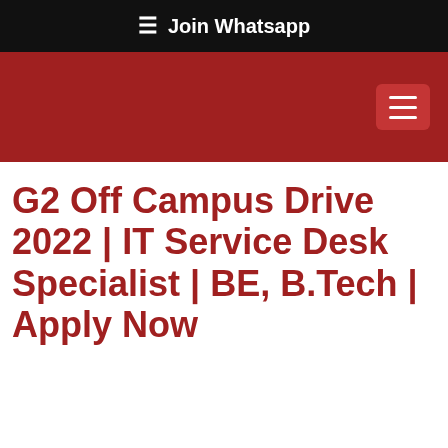☰ Join Whatsapp
[Figure (other): Red navigation header bar with hamburger menu button on the right]
G2 Off Campus Drive 2022 | IT Service Desk Specialist | BE, B.Tech | Apply Now